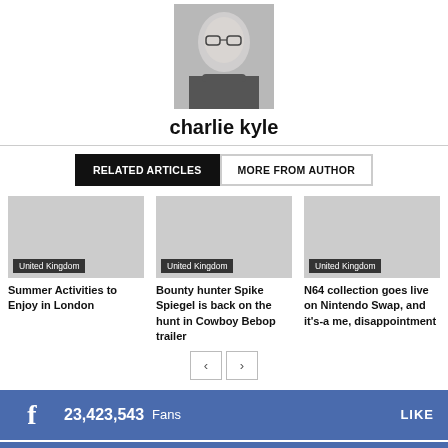[Figure (photo): Headshot photo of author charlie kyle]
charlie kyle
RELATED ARTICLES | MORE FROM AUTHOR
[Figure (photo): Article thumbnail with United Kingdom badge]
Summer Activities to Enjoy in London
[Figure (photo): Article thumbnail with United Kingdom badge]
Bounty hunter Spike Spiegel is back on the hunt in Cowboy Bebop trailer
[Figure (photo): Article thumbnail with United Kingdom badge]
N64 collection goes live on Nintendo Swap, and it's-a me, disappointment
23,423,543 Fans LIKE
2,347,897 Followers FOLLOW